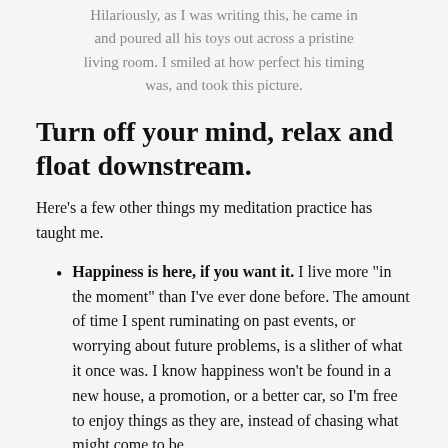Hilariously, as I was writing this, he came in and poured all his toys out across a pristine living room. I smiled at how perfect his timing was, and took this picture.
Turn off your mind, relax and float downstream.
Here's a few other things my meditation practice has taught me.
Happiness is here, if you want it. I live more "in the moment" than I've ever done before. The amount of time I spent ruminating on past events, or worrying about future problems, is a slither of what it once was. I know happiness won't be found in a new house, a promotion, or a better car, so I'm free to enjoy things as they are, instead of chasing what might come to be.